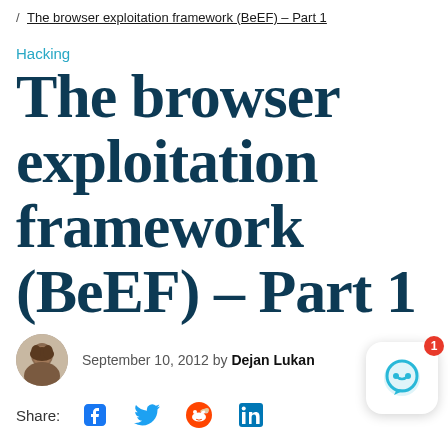/ The browser exploitation framework (BeEF) – Part 1
Hacking
The browser exploitation framework (BeEF) – Part 1
September 10, 2012 by Dejan Lukan
Share: